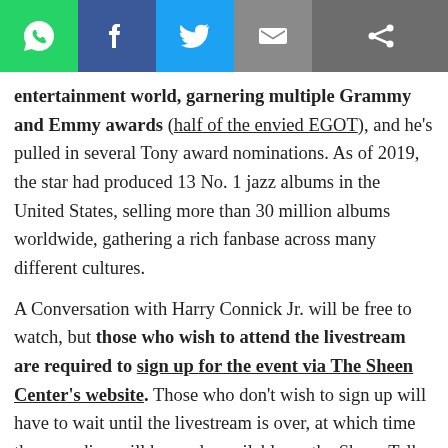[Figure (other): Social media sharing icons bar: WhatsApp (green), Facebook (blue), Twitter (light blue), Email (grey), Share (dark grey)]
entertainment world, garnering multiple Grammy and Emmy awards (half of the envied EGOT), and he's pulled in several Tony award nominations. As of 2019, the star had produced 13 No. 1 jazz albums in the United States, selling more than 30 million albums worldwide, gathering a rich fanbase across many different cultures.
A Conversation with Harry Connick Jr. will be free to watch, but those who wish to attend the livestream are required to sign up for the event via The Sheen Center's website. Those who don't wish to sign up will have to wait until the livestream is over, at which time the recording will be made available on the Sheen Talks YouTube Channel, as well as their Facebook page.